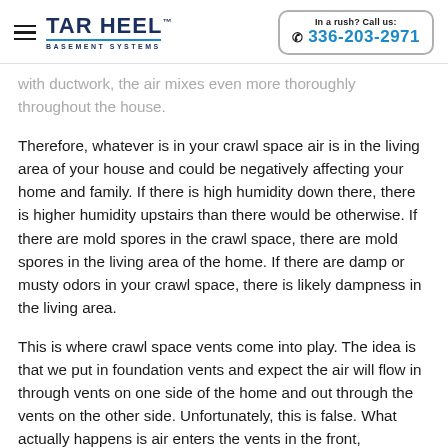Tar Heel Basement Systems | In a rush? Call us: 336-203-2971
with ductwork, the air mixes even more thoroughly throughout the house.
Therefore, whatever is in your crawl space air is in the living area of your house and could be negatively affecting your home and family. If there is high humidity down there, there is higher humidity upstairs than there would be otherwise. If there are mold spores in the crawl space, there are mold spores in the living area of the home. If there are damp or musty odors in your crawl space, there is likely dampness in the living area.
This is where crawl space vents come into play. The idea is that we put in foundation vents and expect the air will flow in through vents on one side of the home and out through the vents on the other side. Unfortunately, this is false. What actually happens is air enters the vents in the front,